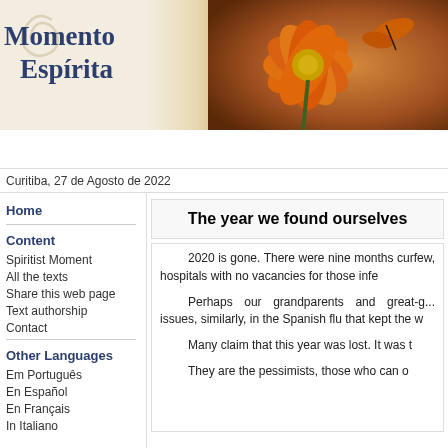[Figure (photo): Banner header with 'Momento Espírita' logo on cream background on left and orange flower with butterfly on right]
Curitiba, 27 de Agosto de 2022
Home
Content
Spiritist Moment
All the texts
Share this web page
Text authorship
Contact
Other Languages
Em Português
En Español
En Français
In Italiano
The year we found ourselves
2020 is gone. There were nine months curfew, hospitals with no vacancies for those infe...
Perhaps our grandparents and great-g... issues, similarly, in the Spanish flu that kept the w...
Many claim that this year was lost. It was t...
They are the pessimists, those who can o...